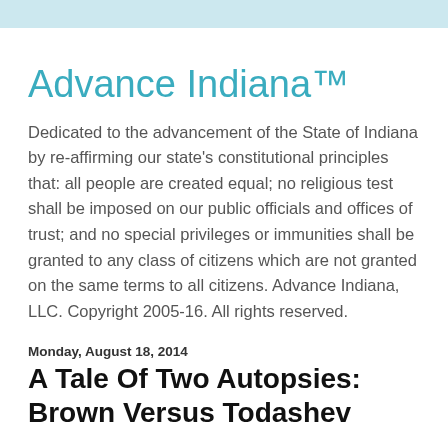Advance Indiana™
Dedicated to the advancement of the State of Indiana by re-affirming our state's constitutional principles that: all people are created equal; no religious test shall be imposed on our public officials and offices of trust; and no special privileges or immunities shall be granted to any class of citizens which are not granted on the same terms to all citizens. Advance Indiana, LLC. Copyright 2005-16. All rights reserved.
Monday, August 18, 2014
A Tale Of Two Autopsies: Brown Versus Todashev